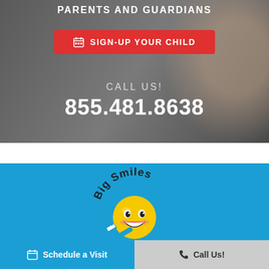PARENTS AND GUARDIANS
SIGN-UP YOUR CHILD
CALL US!
855.481.8638
[Figure (logo): Big Smiles dental logo — a yellow smiley face emoji holding a toothbrush, with the text 'Big Smiles' arced above it]
Schedule a Visit
Call Us!